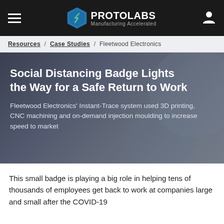PROTOLABS — Manufacturing Accelerated
Resources / Case Studies / Fleetwood Electronics
Social Distancing Badge Lights the Way for a Safe Return to Work
Fleetwood Electronics' Instant-Trace system used 3D printing, CNC machining and on-demand injection moulding to increase speed to market
This small badge is playing a big role in helping tens of thousands of employees get back to work at companies large and small after the COVID-19